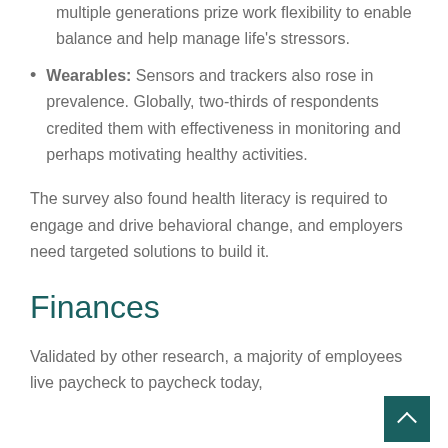multiple generations prize work flexibility to enable balance and help manage life's stressors.
Wearables: Sensors and trackers also rose in prevalence. Globally, two-thirds of respondents credited them with effectiveness in monitoring and perhaps motivating healthy activities.
The survey also found health literacy is required to engage and drive behavioral change, and employers need targeted solutions to build it.
Finances
Validated by other research, a majority of employees live paycheck to paycheck today,